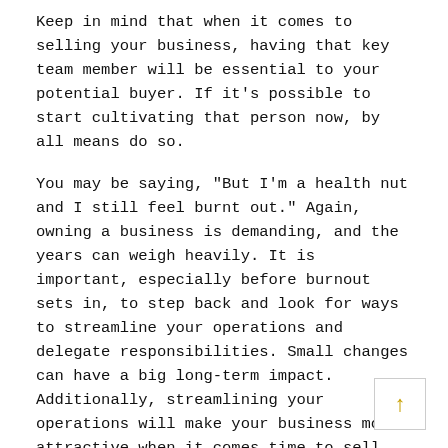Keep in mind that when it comes to selling your business, having that key team member will be essential to your potential buyer. If it’s possible to start cultivating that person now, by all means do so.
You may be saying, “But I’m a health nut and I still feel burnt out.” Again, owning a business is demanding, and the years can weigh heavily. It is important, especially before burnout sets in, to step back and look for ways to streamline your operations and delegate responsibilities. Small changes can have a big long-term impact. Additionally, streamlining your operations will make your business more attractive when it comes time to sell.